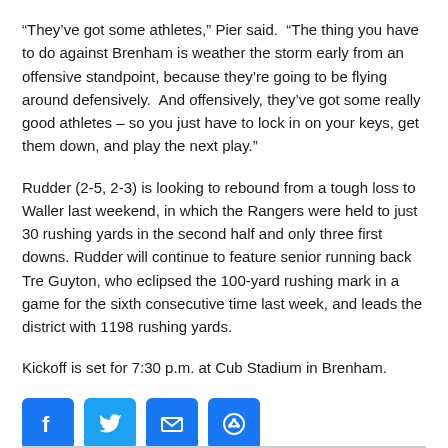“They’ve got some athletes,” Pier said.  “The thing you have to do against Brenham is weather the storm early from an offensive standpoint, because they’re going to be flying around defensively.  And offensively, they’ve got some really good athletes – so you just have to lock in on your keys, get them down, and play the next play.”
Rudder (2-5, 2-3) is looking to rebound from a tough loss to Waller last weekend, in which the Rangers were held to just 30 rushing yards in the second half and only three first downs. Rudder will continue to feature senior running back Tre Guyton, who eclipsed the 100-yard rushing mark in a game for the sixth consecutive time last week, and leads the district with 1198 rushing yards.
Kickoff is set for 7:30 p.m. at Cub Stadium in Brenham.
[Figure (infographic): Four social sharing icon buttons: Facebook (blue), Twitter (blue bird), Email (blue envelope), Share/Copy link (blue chain link)]